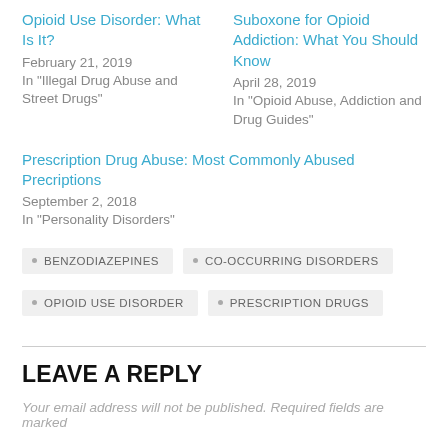Opioid Use Disorder: What Is It?
February 21, 2019
In "Illegal Drug Abuse and Street Drugs"
Suboxone for Opioid Addiction: What You Should Know
April 28, 2019
In "Opioid Abuse, Addiction and Drug Guides"
Prescription Drug Abuse: Most Commonly Abused Precriptions
September 2, 2018
In "Personality Disorders"
BENZODIAZEPINES
CO-OCCURRING DISORDERS
OPIOID USE DISORDER
PRESCRIPTION DRUGS
LEAVE A REPLY
Your email address will not be published. Required fields are marked